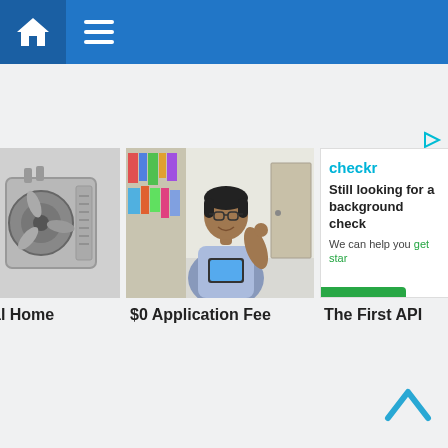[Figure (screenshot): Website navigation bar with home icon and hamburger menu on blue background]
[Figure (screenshot): Ad indicator icon (play/ad triangle) in cyan/teal color]
[Figure (photo): Air conditioning unit / HVAC outdoor unit, silver/grey, on white background]
al Home
[Figure (photo): Man with glasses holding a tablet, standing in a classroom or office with bookshelves, smiling]
$0 Application Fee
[Figure (advertisement): Checkr advertisement - Still looking for a background check? We can help you get started. Green bar at bottom.]
The First API
[Figure (other): Back to top chevron/caret up arrow icon in cyan/teal color]